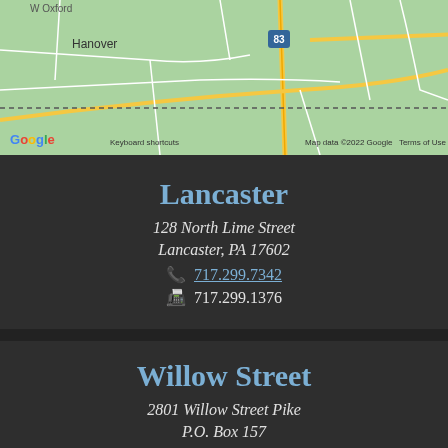[Figure (map): Google Maps screenshot showing road map of Lancaster/York PA area including Hanover, Oxford, highways 83, 74, 272, 222, 273, 1, 95. Shows dashed state border line.]
Lancaster
128 North Lime Street
Lancaster, PA 17602
📞 717.299.7342
📠 717.299.1376
Willow Street
2801 Willow Street Pike
P.O. Box 157